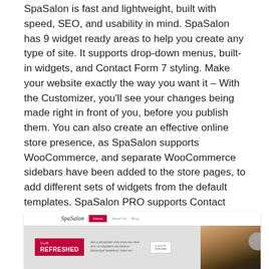SpaSalon is fast and lightweight, built with speed, SEO, and usability in mind. SpaSalon has 9 widget ready areas to help you create any type of site. It supports drop-down menus, built-in widgets, and Contact Form 7 styling. Make your website exactly the way you want it – With the Customizer, you'll see your changes being made right in front of you, before you publish them. You can also create an effective online store presence, as SpaSalon supports WooCommerce, and separate WooCommerce sidebars have been added to the store pages, to add different sets of widgets from the default templates. SpaSalon PRO supports Contact Form 7 and Google Maps; Gives you more widget-ready areas and built-in widgets for teams, services, product sliders, and more.
[Figure (screenshot): A screenshot of the SpaSalon WordPress theme showing the website header with the SpaSalon logo, navigation bar with a red Home button, and a hero banner section with 'OUR REFRESHED' text in a red box, descriptive text, a button, and a background image of hands.]